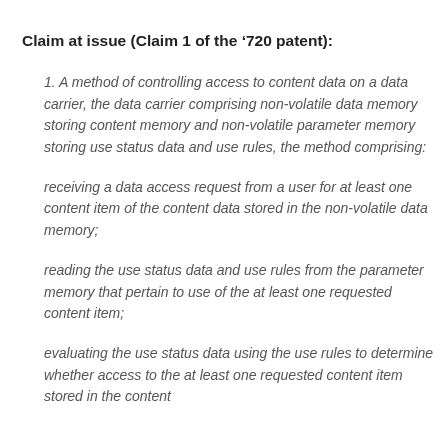Claim at issue (Claim 1 of the ‘720 patent):
1. A method of controlling access to content data on a data carrier, the data carrier comprising non-volatile data memory storing content memory and non-volatile parameter memory storing use status data and use rules, the method comprising:
receiving a data access request from a user for at least one content item of the content data stored in the non-volatile data memory;
reading the use status data and use rules from the parameter memory that pertain to use of the at least one requested content item;
evaluating the use status data using the use rules to determine whether access to the at least one requested content item stored in the content